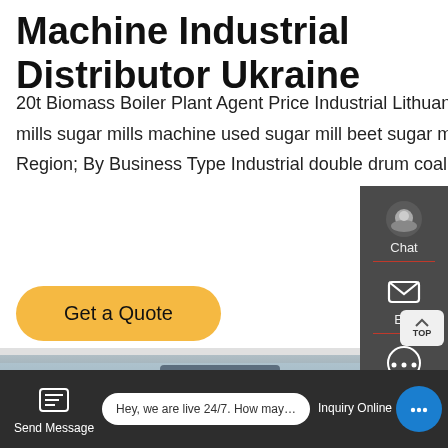Machine Industrial Distributor Ukraine
20t Biomass Boiler Plant Agent Price Industrial Lithuania 20t biomass fired boiler Agent Kuwait. sugar mills sugar mills machine used sugar mill beet sugar mills used sugar milling plant sugar mill in kuwait. By Region; By Business Type Industrial double drum coal
[Figure (other): Get a Quote button - yellow/gold rounded button]
[Figure (photo): Industrial boiler room photo showing large machinery and equipment inside a factory building]
[Figure (other): Side panel with Chat, Email, and Contact icons on dark gray background; TOP scroll button]
[Figure (other): Bottom navigation bar with Send Message, live chat bubble saying 'Hey, we are live 24/7. How may I help you?', and Inquiry Online button]